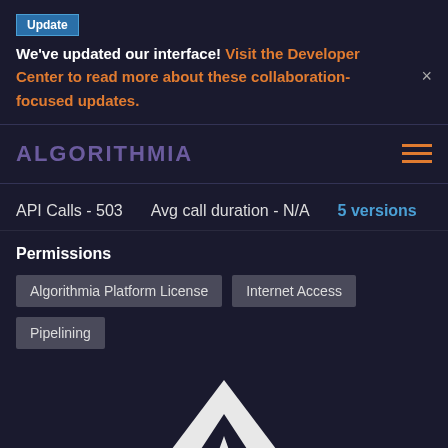Update
We've updated our interface! Visit the Developer Center to read more about these collaboration-focused updates.
[Figure (logo): Algorithmia logo text in purple/violet uppercase letters]
API Calls - 503    Avg call duration - N/A    5 versions
Permissions
Algorithmia Platform License
Internet Access
Pipelining
[Figure (logo): Algorithmia white triangle/mountain logo mark, partially visible at bottom of page]